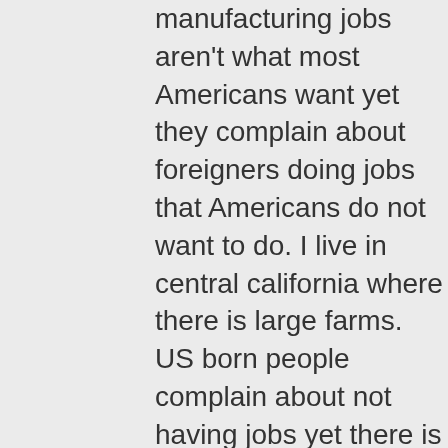manufacturing jobs aren't what most Americans want yet they complain about foreigners doing jobs that Americans do not want to do. I live in central california where there is large farms. US born people complain about not having jobs yet there is chronic farm labor shortage even during the recession!

The only way to have high minimum wage and low cost (assuming that people, not machines will make these) is